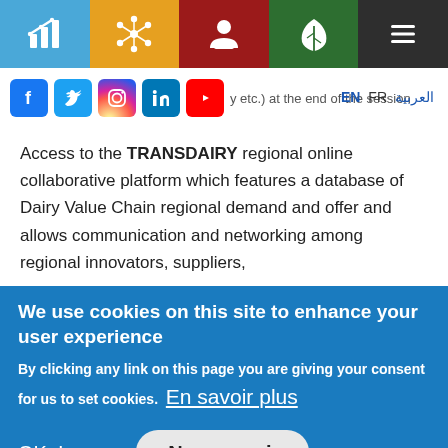[Figure (screenshot): Navigation bar with five colored cells: blue with bar-chart icon, yellow with network/star icon, red with person icon, green with leaf icon, dark gray with hamburger menu icon]
[Figure (screenshot): Social media icons bar (Facebook, Twitter, Instagram, LinkedIn, YouTube) with partial text 'y etc.) at the end of the session' and language switcher EN / FR / العربية]
Access to the TRANSDAIRY regional online collaborative platform which features a database of Dairy Value Chain regional demand and offer and allows communication and networking among regional innovators, suppliers,
We use cookies on this site to enhance your user experience
By clicking any link on this page you are giving your consent for us to set cookies. En savoir plus
OK, I agree   Non, merci.